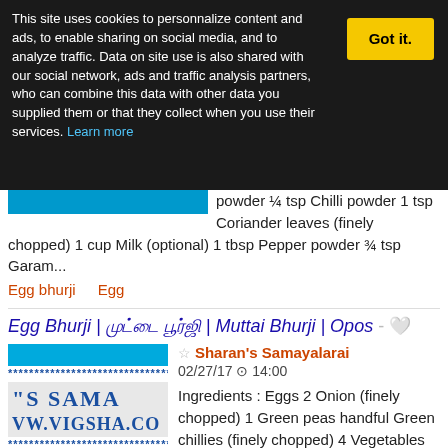This site uses cookies to personnalize content and ads, to enable sharing on social media, and to analyze traffic. Data on site use is also shared with our social network, ads and traffic analysis partners, who can combine this data with other data you supplied them or that they collect when you use their services. Learn more
Got it.
powder ¼ tsp Chilli powder 1 tsp Coriander leaves (finely chopped) 1 cup Milk (optional) 1 tbsp Pepper powder ¾ tsp Garam...
Egg bhurji    Egg
Egg Bhurji | முட்டை பூர்ஜி | Muttai Bhurji | Opos - 🤍
☆ Sharan's Samayalarai
02/27/17 ⊙ 14:00
Ingredients : Eggs 2 Onion (finely chopped) 1 Green peas handful Green chillies (finely chopped) 4 Vegetables (chopped) 1 cup Turmeric powder ¼ tsp Chilli powder 1 tsp
Coriander leaves (finely chopped) 1 cup Milk (optional) 1 tbsp Pepper powder ¾ tsp Garam...